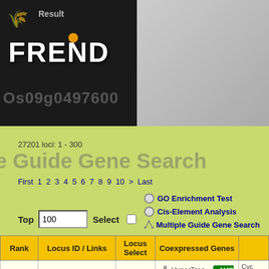[Figure (screenshot): FREND rice bioinformatics tool header with black logo area showing 'FREND' in bold white letters and gray gradient panel on right]
Os09g0497600
27201 loci: 1 - 300
e Guide Gene Search
First 1 2 3 4 5 6 7 8 9 10 > Last
GO Enrichment Test
Cis-Element Analysis
Multiple Guide Gene Search
Top 100 Select
| Rank | Locus ID / Links | Locus Select | Coexpressed Genes |  |
| --- | --- | --- | --- | --- |
| 0 | Os09g0497600 |  | HyperTree  MR List | Cyc inin |